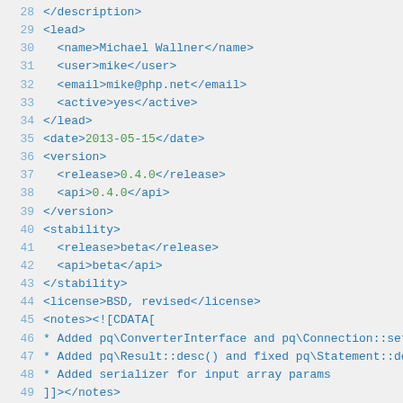[Figure (screenshot): Code editor screenshot showing XML content with line numbers 28-50. Lines display XML tags in blue with some values in green (dates, version numbers). Content includes lead, date, version, stability, license, notes, and contents XML elements.]